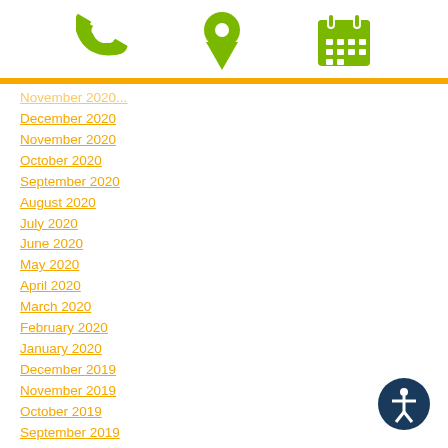[Figure (infographic): Three green icons in a row: phone handset icon, map pin/location icon, and calendar icon]
December 2020
November 2020
October 2020
September 2020
August 2020
July 2020
June 2020
May 2020
April 2020
March 2020
February 2020
January 2020
December 2019
November 2019
October 2019
September 2019
August 2019
July 2019